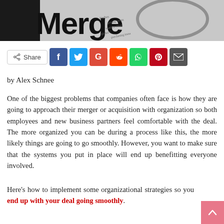[Figure (photo): Newspaper headline with 'Merger' text visible, with a magnifying glass over financial text. Black and white newspaper image.]
[Figure (infographic): Social sharing bar with Share button and social media icons: Facebook (blue), Twitter (light blue), Google+ (red), Reddit (orange-red), WhatsApp (green), Pinterest (dark red), Email (dark gray).]
by Alex Schnee
One of the biggest problems that companies often face is how they are going to approach their merger or acquisition with organization so both employees and new business partners feel comfortable with the deal. The more organized you can be during a process like this, the more likely things are going to go smoothly. However, you want to make sure that the systems you put in place will end up benefitting everyone involved.
Here’s how to implement some organizational strategies so you end up with your deal going smoothly.